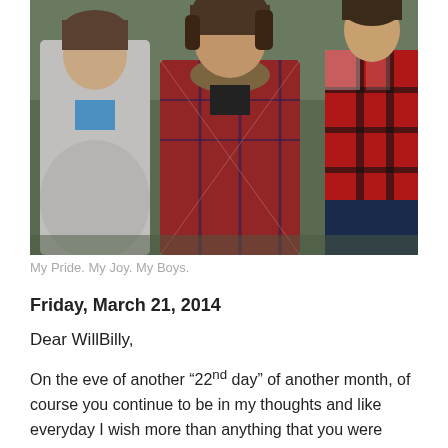[Figure (photo): Three young men standing outdoors. The one in the center is wearing a red and blue plaid jacket with a fur-collared hood. On the left is a person in a gray hoodie with a blue shirt. On the right is a person in a red and black plaid shirt.]
My Pride. My Joy. My Boys.
Friday, March 21, 2014
Dear WillBilly,
On the eve of another “22nd day” of another month, of course you continue to be in my thoughts and like everyday I wish more than anything that you were here. Tomorrow afternoon is an important day for your big